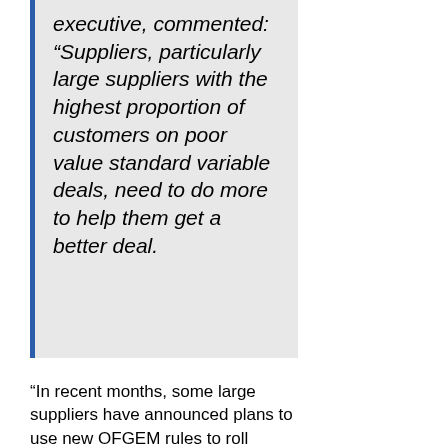executive, commented: “Suppliers, particularly large suppliers with the highest proportion of customers on poor value standard variable deals, need to do more to help them get a better deal.
“In recent months, some large suppliers have announced plans to use new OFGEM rules to roll